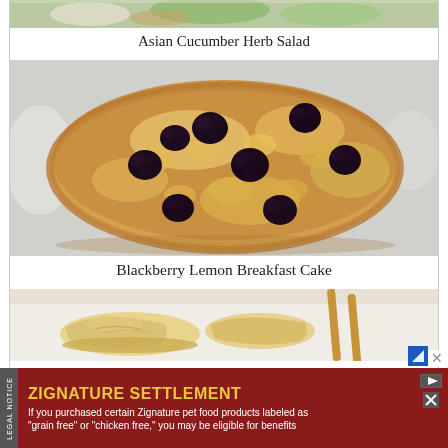[Figure (photo): Top portion of Asian Cucumber Herb Salad photo, partially cropped at the top]
Asian Cucumber Herb Salad
[Figure (photo): Blackberry Lemon Breakfast Cake — a round golden-brown cake topped with visible blackberries embedded in the crust, photographed from above on a light background]
Blackberry Lemon Breakfast Cake
[Figure (photo): Partial bottom photo showing what appears to be dumplings or pot stickers with chopsticks on a white plate]
LEGAL NOTICE
ZIGNATURE SETTLEMENT
If you purchased certain Zignature pet food products labeled as "grain free" or "chicken free," you may be eligible for benefits